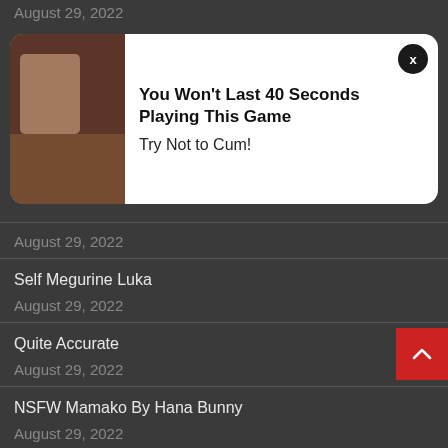August 29, 2022
[Figure (other): Ad popup overlay with adult image thumbnail and text: You Won't Last 40 Seconds Playing This Game / Try Not to Cum!]
August 29, 2022
Self Megurine Luka
August 29, 2022
Quite Accurate
August 29, 2022
NSFW Mamako By Hana Bunny
August 29, 2022
Little Devils From Hell By Zoe Volf And Lada Lyumos
August 29, 2022
Self Bun Bun Girl By Elphie Monster Cosplay